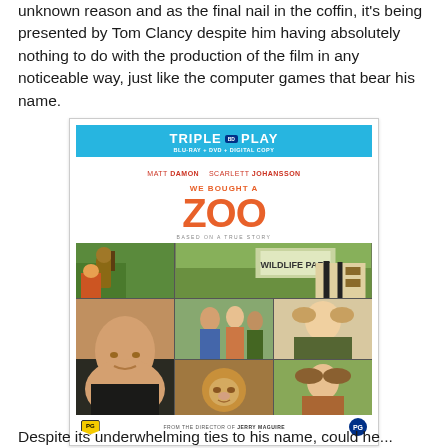unknown reason and as the final nail in the coffin, it's being presented by Tom Clancy despite him having absolutely nothing to do with the production of the film in any noticeable way, just like the computer games that bear his name.
[Figure (photo): DVD/Blu-ray cover for 'We Bought a Zoo' Triple Play edition featuring Matt Damon and Scarlett Johansson. Cover shows the movie title in large orange letters with a photo collage of actors and zoo animals below.]
Despite its underwhelming ties to his name, could he...